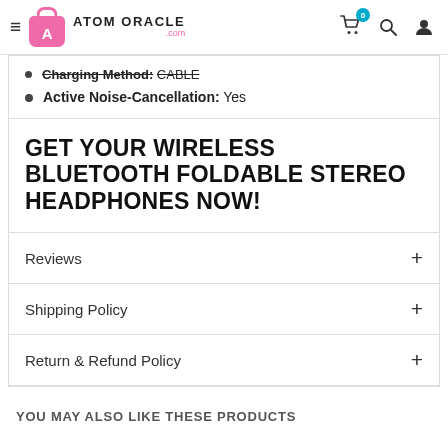ATOM ORACLE .com — navigation bar with hamburger menu, logo, cart (0), search, user icons
Charging Method: CABLE
Active Noise-Cancellation: Yes
GET YOUR WIRELESS BLUETOOTH FOLDABLE STEREO HEADPHONES NOW!
Reviews
Shipping Policy
Return & Refund Policy
YOU MAY ALSO LIKE THESE PRODUCTS